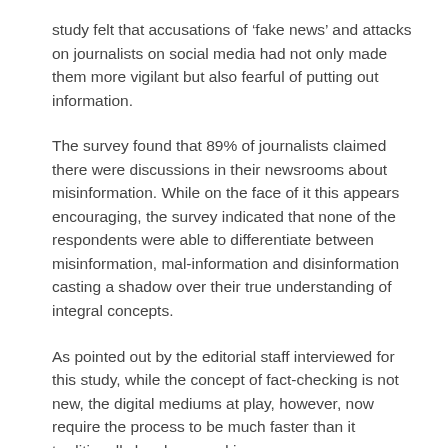study felt that accusations of ‘fake news’ and attacks on journalists on social media had not only made them more vigilant but also fearful of putting out information.
The survey found that 89% of journalists claimed there were discussions in their newsrooms about misinformation. While on the face of it this appears encouraging, the survey indicated that none of the respondents were able to differentiate between misinformation, mal-information and disinformation casting a shadow over their true understanding of integral concepts.
As pointed out by the editorial staff interviewed for this study, while the concept of fact-checking is not new, the digital mediums at play, however, now require the process to be much faster than it traditionally has been and is.